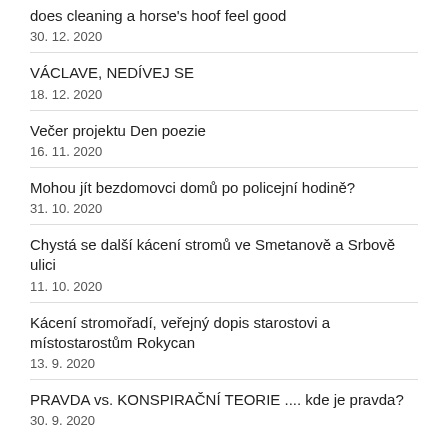does cleaning a horse's hoof feel good
30. 12. 2020
VÁCLAVE, NEDÍVEJ SE
18. 12. 2020
Večer projektu Den poezie
16. 11. 2020
Mohou jít bezdomovci domů po policejní hodině?
31. 10. 2020
Chystá se další kácení stromů ve Smetanově a Srbově ulici
11. 10. 2020
Kácení stromořadí, veřejný dopis starostovi a místostarostům Rokycan
13. 9. 2020
PRAVDA vs. KONSPIRAČNÍ TEORIE .... kde je pravda?
30. 9. 2020